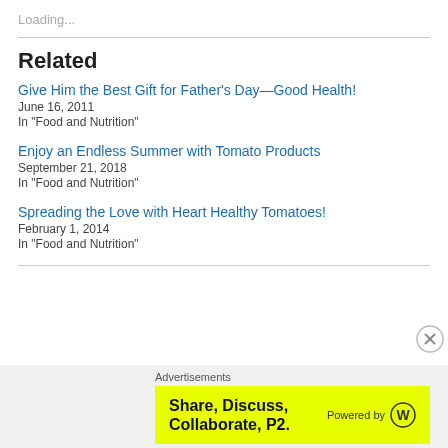Loading...
Related
Give Him the Best Gift for Father's Day—Good Health!
June 16, 2011
In "Food and Nutrition"
Enjoy an Endless Summer with Tomato Products
September 21, 2018
In "Food and Nutrition"
Spreading the Love with Heart Healthy Tomatoes!
February 1, 2014
In "Food and Nutrition"
Advertisements
Share, Discuss, Collaborate, P2.
Powered by [WordPress logo]